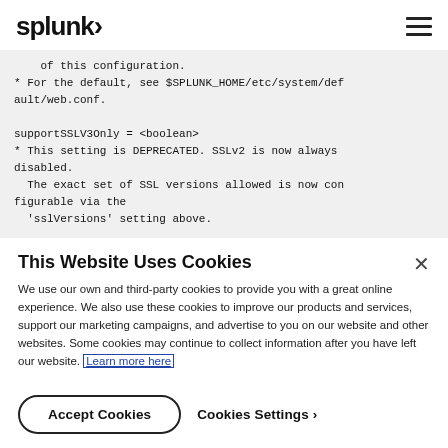splunk>
of this configuration.
* For the default, see $SPLUNK_HOME/etc/system/default/web.conf.

supportSSLV3Only = <boolean>
* This setting is DEPRECATED. SSLv2 is now always disabled.
  The exact set of SSL versions allowed is now configurable via the
  'sslVersions' setting above.
This Website Uses Cookies
We use our own and third-party cookies to provide you with a great online experience. We also use these cookies to improve our products and services, support our marketing campaigns, and advertise to you on our website and other websites. Some cookies may continue to collect information after you have left our website. Learn more here
Accept Cookies   Cookies Settings ›